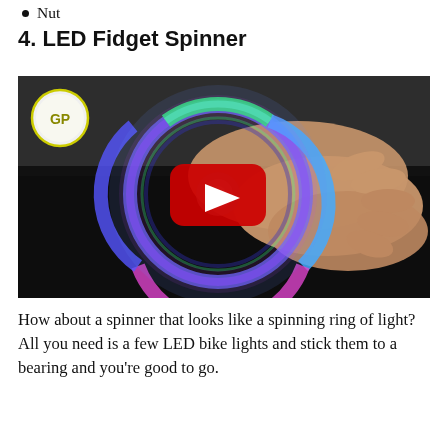Nut
4. LED Fidget Spinner
[Figure (screenshot): Video thumbnail showing a hand holding an LED fidget spinner with glowing blue, green, and purple light rings, with a YouTube play button overlay and a 'GP' channel logo in the top-left corner.]
How about a spinner that looks like a spinning ring of light? All you need is a few LED bike lights and stick them to a bearing and you’re good to go.